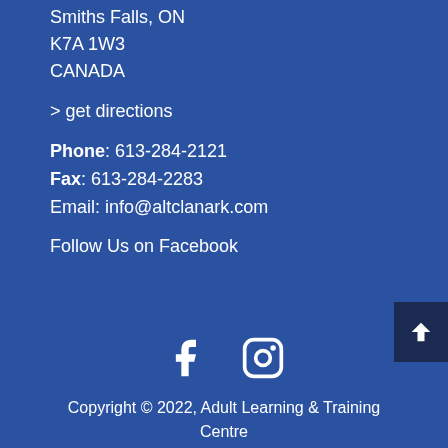Smiths Falls, ON
K7A 1W3
CANADA
> get directions
Phone: 613-284-2121
Fax: 613-284-2283
Email: info@altclanark.com
Follow Us on Facebook
[Figure (illustration): Back to top arrow button (dark navy background with upward chevron)]
[Figure (illustration): Social media icons: Facebook (f) and Instagram (camera) in white on blue background]
Copyright © 2022, Adult Learning & Training Centre